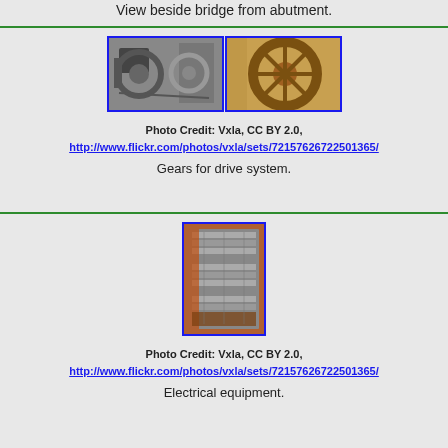View beside bridge from abutment.
[Figure (photo): Two side-by-side photos of gears for drive system — black and white photo on left, color photo on right]
Photo Credit: Vxla, CC BY 2.0, http://www.flickr.com/photos/vxla/sets/72157626722501365/
Gears for drive system.
[Figure (photo): Photo of electrical equipment panel with wiring]
Photo Credit: Vxla, CC BY 2.0, http://www.flickr.com/photos/vxla/sets/72157626722501365/
Electrical equipment.